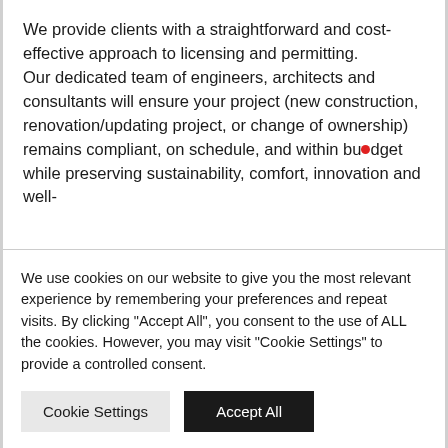We provide clients with a straightforward and cost-effective approach to licensing and permitting.
Our dedicated team of engineers, architects and consultants will ensure your project (new construction, renovation/updating project, or change of ownership) remains compliant, on schedule, and within budget while preserving sustainability, comfort, innovation and well-
We use cookies on our website to give you the most relevant experience by remembering your preferences and repeat visits. By clicking "Accept All", you consent to the use of ALL the cookies. However, you may visit "Cookie Settings" to provide a controlled consent.